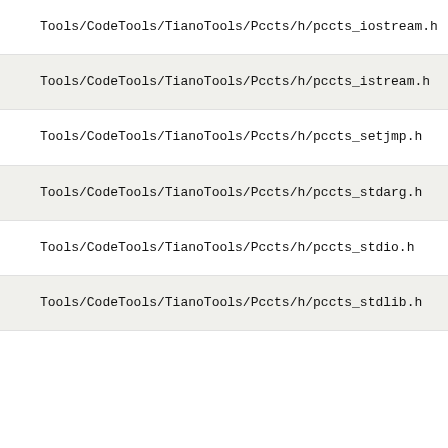Tools/CodeTools/TianoTools/Pccts/h/pccts_iostream.h
Tools/CodeTools/TianoTools/Pccts/h/pccts_istream.h
Tools/CodeTools/TianoTools/Pccts/h/pccts_setjmp.h
Tools/CodeTools/TianoTools/Pccts/h/pccts_stdarg.h
Tools/CodeTools/TianoTools/Pccts/h/pccts_stdio.h
Tools/CodeTools/TianoTools/Pccts/h/pccts_stdlib.h